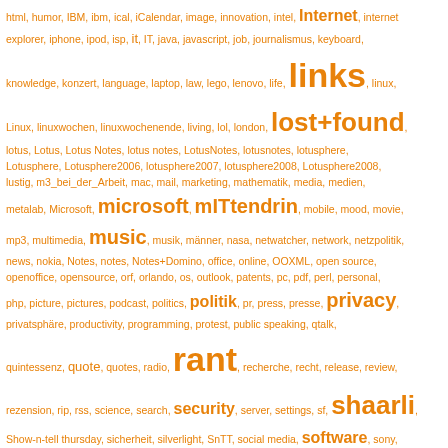[Figure (infographic): A tag cloud with words of varying sizes in orange/amber colors on white background, representing blog tags or categories. Larger words indicate higher frequency tags including: links, lost+found, microsoft, mITtendrin, music, rant, shaarli, privacy, security, software, video.]